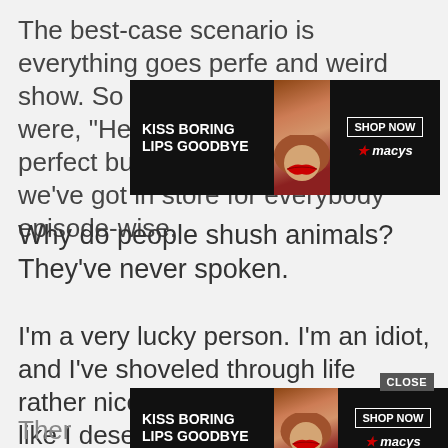The best-case scenario is everything goes perfectly and it becomes this weird show. So all my conversations were, “Hey last night didn’t go perfect but we kind of know what we’ve got in store for everybody episode-wise.
[Figure (photo): Macy's advertisement banner: KISS BORING LIPS GOODBYE with woman with red lips, SHOP NOW button and Macy's logo]
Why do people shush animals? They’ve never spoken.
I’m a very lucky person. I’m an idiot, and I’ve shoveled through life rather nicely so far, so I don’t feel like I deserve good treatm
[Figure (photo): Second Macy's advertisement banner: KISS BORING LIPS GOODBYE with woman with red lips, SHOP NOW button and Macy's logo, with CLOSE button]
Ther